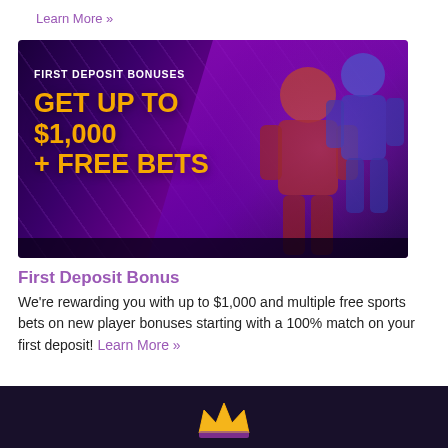Learn More »
[Figure (photo): Sports betting advertisement banner with dark purple/magenta background, two athletic figures (football player and basketball player), text reading 'FIRST DEPOSIT BONUSES GET UP TO $1,000 + FREE BETS' in white and gold/orange]
First Deposit Bonus
We're rewarding you with up to $1,000 and multiple free sports bets on new player bonuses starting with a 100% match on your first deposit! Learn More »
[Figure (logo): Crown logo in purple and gold/yellow colors on dark background at bottom of page]